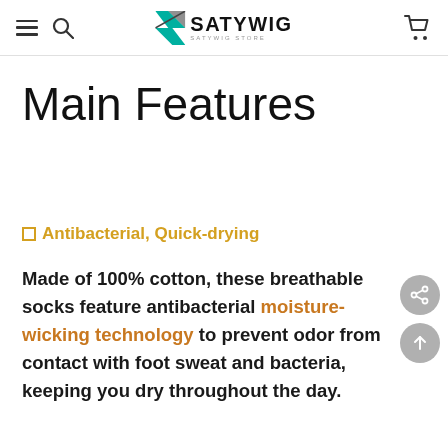SATYWIG SATYWIG STORE
Main Features
□ Antibacterial, Quick-drying
Made of 100% cotton, these breathable socks feature antibacterial moisture-wicking technology to prevent odor from contact with foot sweat and bacteria, keeping you dry throughout the day.